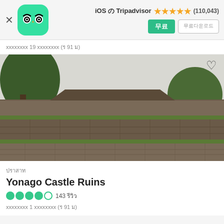[Figure (screenshot): Tripadvisor app header with owl logo, iOS rating 4.5 stars (110,043), green button and outlined button]
xxxxxxx 19 xxxxxxx (ร 91 ม)
[Figure (photo): Photo of Yonago Castle Ruins showing stone walls with terraced levels and green grass, trees visible]
ปราสาท
Yonago Castle Ruins
●●●●○ 143 รีวิว
xxxxxxxx 1 xxxxxxxx (ร 91 ม)